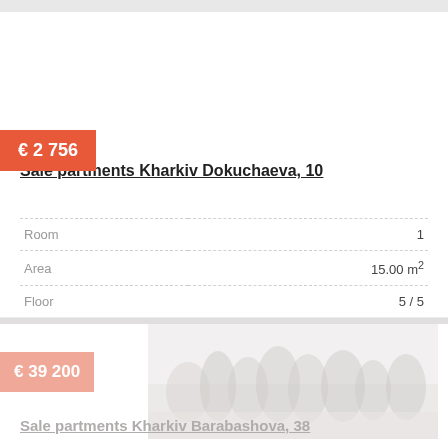€ 2 756
Sale partments Kharkiv Dokuchaeva, 10
|  |  |
| --- | --- |
| Room | 1 |
| Area | 15.00 m2 |
| Floor | 5 / 5 |
[Figure (photo): Exterior winter landscape photo showing trees in fog/snow, very light and washed out tones]
€ 39 200
Sale partments Kharkiv Barabashova, 38